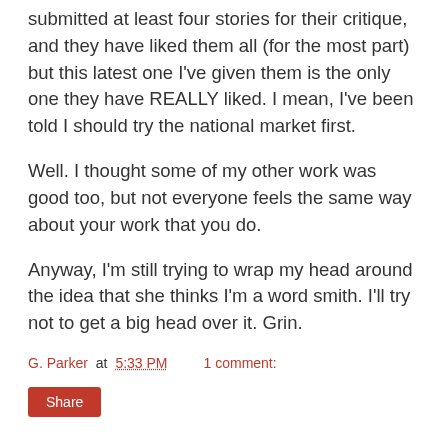submitted at least four stories for their critique, and they have liked them all (for the most part) but this latest one I've given them is the only one they have REALLY liked. I mean, I've been told I should try the national market first.
Well. I thought some of my other work was good too, but not everyone feels the same way about your work that you do.
Anyway, I'm still trying to wrap my head around the idea that she thinks I'm a word smith. I'll try not to get a big head over it. Grin.
G. Parker at 5:33 PM    1 comment:
Share
Thursday, May 20, 2010
Personal Success is a Team Effort
By Nichole Giles
Over the weekend, I had the opportunity to attend a